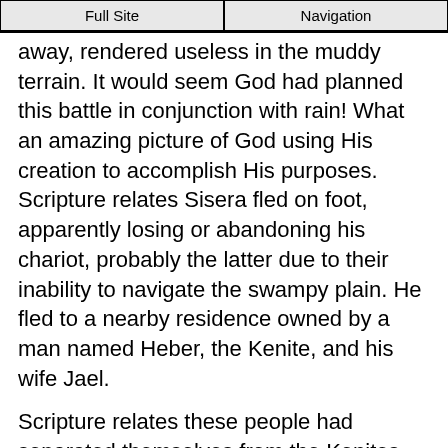Full Site | Navigation
away, rendered useless in the muddy terrain. It would seem God had planned this battle in conjunction with rain! What an amazing picture of God using His creation to accomplish His purposes. Scripture relates Sisera fled on foot, apparently losing or abandoning his chariot, probably the latter due to their inability to navigate the swampy plain. He fled to a nearby residence owned by a man named Heber, the Kenite, and his wife Jael.
Scripture relates these people had separated themselves from the Kenites, and settled near the oak in Zaanannim. Verse 17 states there was peace between Jabin, king of Hazor, and the house of Heber the Kenite. Though Scripture does not divulge any details into what sort of peace existed, the implication seems to be Heber had abandoned his